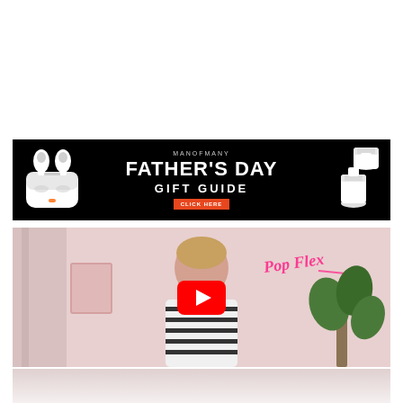[Figure (infographic): Man of Many Father's Day Gift Guide advertisement banner on black background. Left side shows Apple AirPods Pro in case, right side shows white sneakers. Center text reads MANOFMANY FATHER'S DAY GIFT GUIDE with a red CLICK HERE button.]
[Figure (screenshot): YouTube video thumbnail showing a young man in a striped shirt against a pink room background with a neon-style script sign reading 'Pop Flex'. A large red YouTube play button is centered over the image. Bottom of image fades to light.]